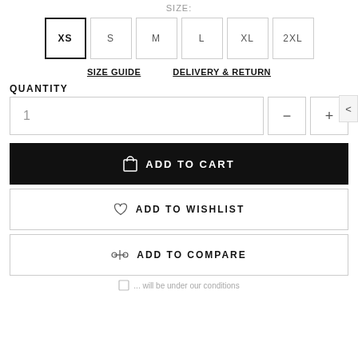SIZE:
XS (selected), S, M, L, XL, 2XL
SIZE GUIDE    DELIVERY & RETURN
QUANTITY
1 (quantity input with - and + buttons)
ADD TO CART
ADD TO WISHLIST
ADD TO COMPARE
... will be under our conditions